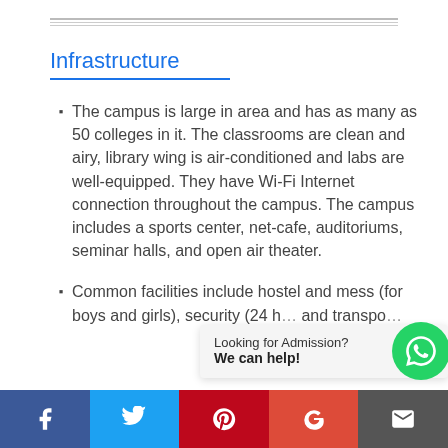Infrastructure
The campus is large in area and has as many as 50 colleges in it. The classrooms are clean and airy, library wing is air-conditioned and labs are well-equipped. They have Wi-Fi Internet connection throughout the campus. The campus includes a sports center, net-cafe, auditoriums, seminar halls, and open air theater.
Common facilities include hostel and mess (for boys and girls), security (24 h...) and transpo...